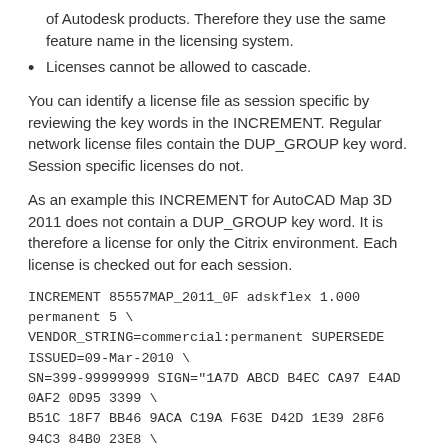of Autodesk products. Therefore they use the same feature name in the licensing system.
Licenses cannot be allowed to cascade.
You can identify a license file as session specific by reviewing the key words in the INCREMENT. Regular network license files contain the DUP_GROUP key word. Session specific licenses do not.
As an example this INCREMENT for AutoCAD Map 3D 2011 does not contain a DUP_GROUP key word. It is therefore a license for only the Citrix environment. Each license is checked out for each session.
INCREMENT 85557MAP_2011_0F adskflex 1.000 permanent 5 \
VENDOR_STRING=commercial:permanent SUPERSEDE ISSUED=09-Mar-2010 \
SN=399-99999999 SIGN="1A7D ABCD B4EC CA97 E4AD 0AF2 0D95 3399 \
B51C 18F7 BB46 9ACA C19A F63E D42D 1E39 28F6 94C3 84B0 23E8 \